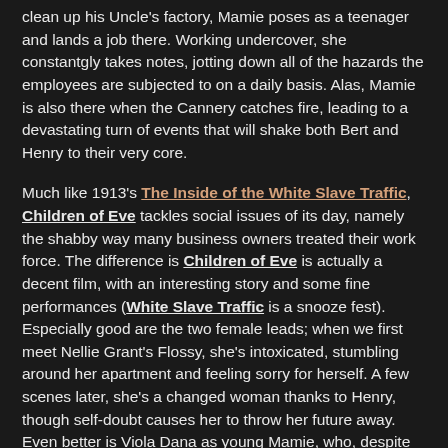clean up his Uncle's factory, Mamie poses as a teenager and lands a job there. Working undercover, she constantgly takes notes, jotting down all of the hazards the employees are subjected to on a daily basis. Alas, Mamie is also there when the Cannery catches fire, leading to a devastating turn of events that will shake both Bert and Henry to their very core.
Much like 1913's The Inside of the White Slave Traffic, Children of Eve tackles social issues of its day, namely the shabby way many business owners treated their work force. The difference is Children of Eve is actually a decent film, with an interesting story and some fine performances (White Slave Traffic is a snooze fest). Especially good are the two female leads; when we first meet Nellie Grant's Flossy, she's intoxicated, stumbling around her apartment and feeling sorry for herself. A few scenes later, she's a changed woman thanks to Henry, though self-doubt causes her to throw her future away. Even better is Viola Dana as young Mamie, who, despite being like her mother, eventually overcomes her uncertainties, and, with Bert's help, tries her best to make a difference. As pretty as she is talented, Miss Dana is perfectly convincing as both an outgoing party girl and an upstanding young woman.
A bit melodramatic at times, the movie nonetheless manages to get its